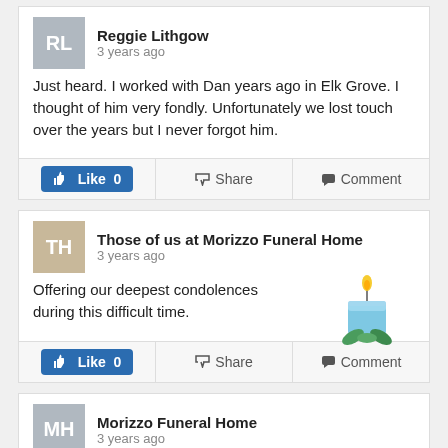Reggie Lithgow
3 years ago
Just heard. I worked with Dan years ago in Elk Grove. I thought of him very fondly. Unfortunately we lost touch over the years but I never forgot him.
Like 0  Share  Comment
Those of us at Morizzo Funeral Home
3 years ago
Offering our deepest condolences during this difficult time.
[Figure (illustration): A blue candle with a yellow flame and green leaves at the base]
Like 0  Share  Comment
Morizzo Funeral Home
3 years ago
2 files added to the album Daniel West